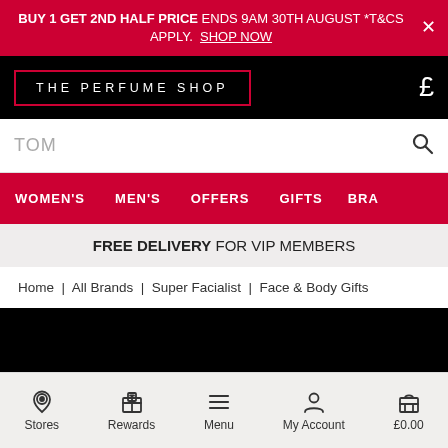BUY 1 GET 2ND HALF PRICE ENDS 9AM 30TH AUGUST *T&CS APPLY. SHOP NOW
[Figure (logo): The Perfume Shop logo on black background with red border, and pound sign on the right]
TOM
WOMEN'S  MEN'S  OFFERS  GIFTS  BRA
FREE DELIVERY FOR VIP MEMBERS
Home | All Brands | Super Facialist | Face & Body Gifts
[Figure (photo): Black banner area]
Stores  Rewards  Menu  My Account  £0.00